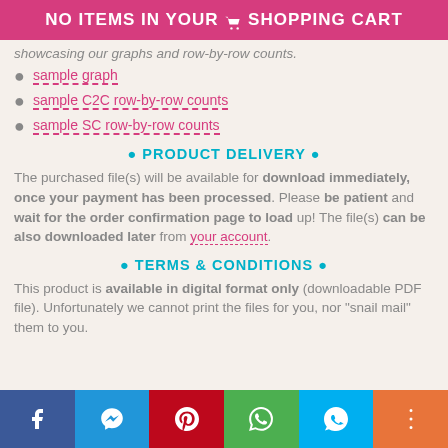NO ITEMS IN YOUR SHOPPING CART
showcasing our graphs and row-by-row counts.
sample graph
sample C2C row-by-row counts
sample SC row-by-row counts
• PRODUCT DELIVERY •
The purchased file(s) will be available for download immediately, once your payment has been processed. Please be patient and wait for the order confirmation page to load up! The file(s) can be also downloaded later from your account.
• TERMS & CONDITIONS •
This product is available in digital format only (downloadable PDF file). Unfortunately we cannot print the files for you, nor "snail mail" them to you.
f  messenger  P  whatsapp  S  +